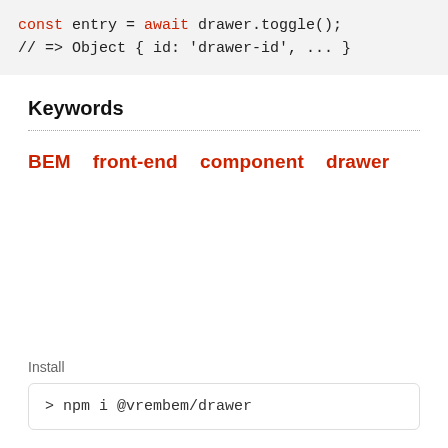const entry = await drawer.toggle();
// => Object { id: 'drawer-id', ... }
Keywords
BEM  front-end  component  drawer
Install
> npm i @vrembem/drawer